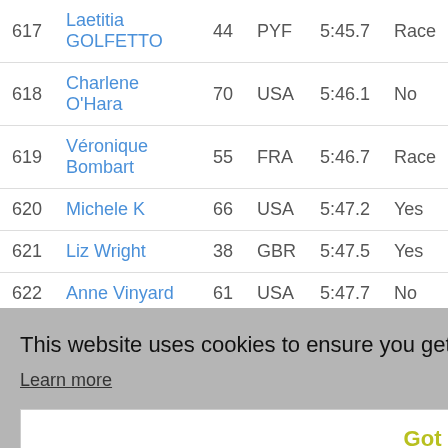| # | Name | Age | Country | Time | Status |
| --- | --- | --- | --- | --- | --- |
| 617 | Laetitia GOLFETTO | 44 | PYF | 5:45.7 | Race |
| 618 | Charlene O'Hara | 70 | USA | 5:46.1 | No |
| 619 | Véronique Bombart | 55 | FRA | 5:46.7 | Race |
| 620 | Michele K | 66 | USA | 5:47.2 | Yes |
| 621 | Liz Wright | 38 | GBR | 5:47.5 | Yes |
| 622 | Anne Vinyard | 61 | USA | 5:47.7 | No |
| 623 | Sharon Wood | 42 | GBR | 5:48.2 | Yes |
| 624 |  |  |  |  | Yes |
| 625 |  |  |  |  | Race |
| 626 |  |  |  |  | Yes |
| 627 |  |  |  |  | Yes |
| 628 |  |  |  |  | No |
This website uses cookies to ensure you get the best experience on our website. Learn more
Got it!